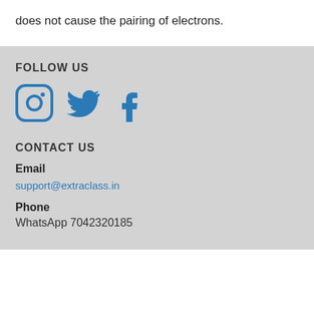does not cause the pairing of electrons.
FOLLOW US
[Figure (illustration): Social media icons: Instagram (circle with camera icon), Twitter (bird icon), Facebook (f icon), all in blue]
CONTACT US
Email
support@extraclass.in
Phone
WhatsApp 7042320185